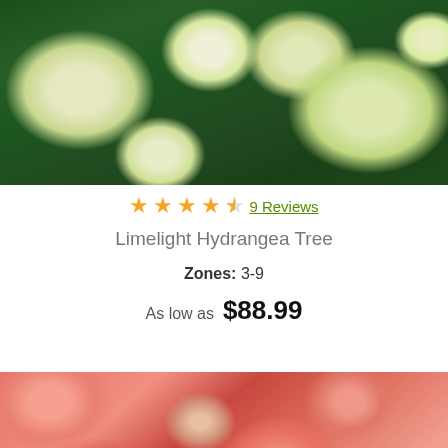[Figure (photo): Close-up photo of white/cream Limelight Hydrangea flowers with green foliage background]
[Figure (other): Star rating: 4.5 out of 5 stars with 9 Reviews link]
Limelight Hydrangea Tree
Zones: 3-9
As low as  $88.99
[Figure (photo): Close-up photo of coral/pink succulent or flowering plant leaves]